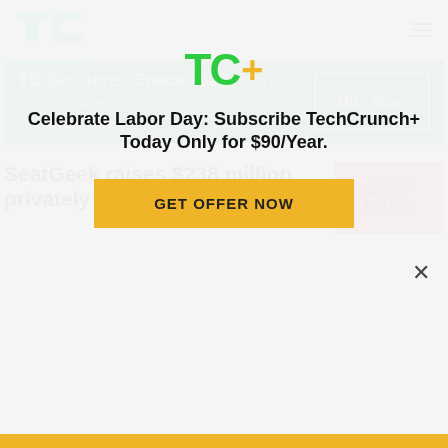TC (TechCrunch logo) with hamburger menu
[Figure (infographic): Green banner ad: TC Sessions: Space 2022 Dec 6 — Discover what's on the horizon for the next frontier — Buy Now button]
SeatGeek raises $238 million privately after
[Figure (logo): SeatGeek red logo thumbnail]
[Figure (logo): TC+ logo with green TC and yellow plus sign]
Celebrate Labor Day: Subscribe TechCrunch+ Today Only for $90/Year.
GET OFFER NOW